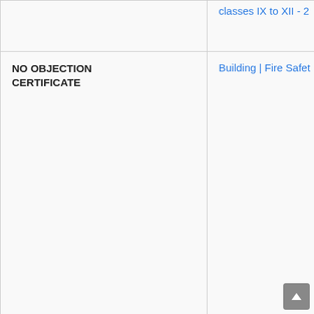| Document | View |
| --- | --- |
| classes IX to XII - 2… | Building | Fire Safet… |
| NO OBJECTION CERTIFICATE | Building | Fire Safet… |
| List of PTA Members | VIEW |
| List of SMC Members | VIEW |